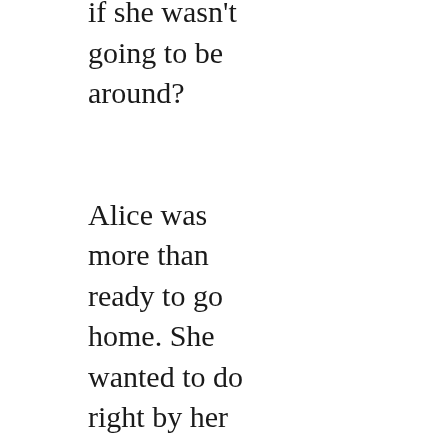if she wasn't going to be around?

Alice was more than ready to go home. She wanted to do right by her tomato seedlings, which she'd nursed through the fickle spring